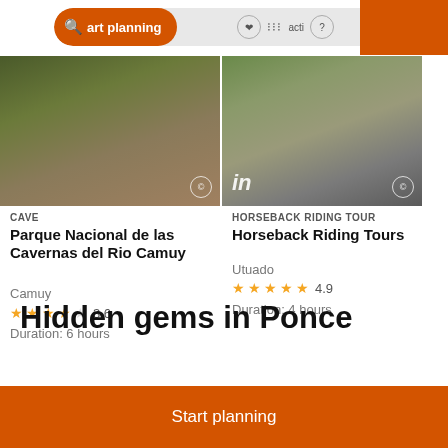[Figure (screenshot): Search bar with orange 'Start planning' button and navigation icons]
[Figure (photo): Cave entrance photo for Parque Nacional de las Cavernas del Rio Camuy]
CAVE
Parque Nacional de las Cavernas del Rio Camuy
Camuy
3.6
Duration: 6 hours
[Figure (photo): Street scene photo for Horseback Riding Tours in Utuado]
HORSEBACK RIDING TOUR
Horseback Riding Tours
Utuado
4.9
Duration: 4 hours
Hidden gems in Ponce
Start planning